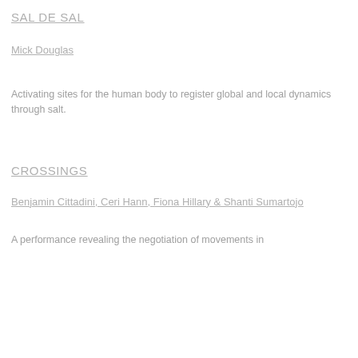SAL DE SAL
Mick Douglas
Activating sites for the human body to register global and local dynamics through salt.
CROSSINGS
Benjamin Cittadini, Ceri Hann, Fiona Hillary & Shanti Sumartojo
A performance revealing the negotiation of movements in